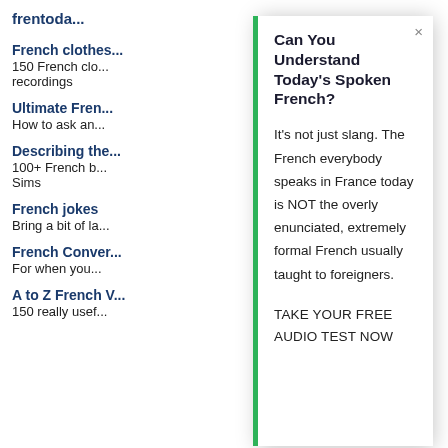frenchtoda...
French clothes...
150 French clo... recordings
Ultimate Fren...
How to ask an...
Describing the...
100+ French b... Sims
French jokes
Bring a bit of la...
French Conver...
For when you...
A to Z French V...
150 really usef...
Can You Understand Today's Spoken French?
It's not just slang. The French everybody speaks in France today is NOT the overly enunciated, extremely formal French usually taught to foreigners.
TAKE YOUR FREE AUDIO TEST NOW